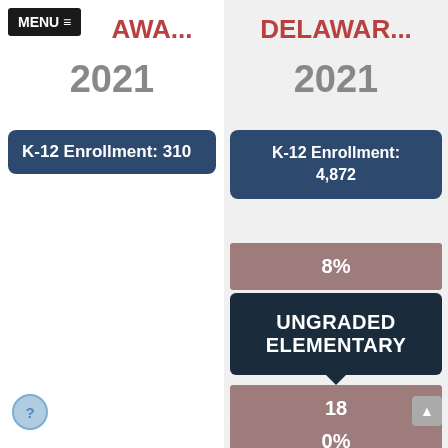MENU ≡
DELA WA...
2021
K-12 Enrollment: 310
DELAWAR...
2021
K-12 Enrollment: 4,872
8%
UNGRADED ELEMENTARY
18
0%